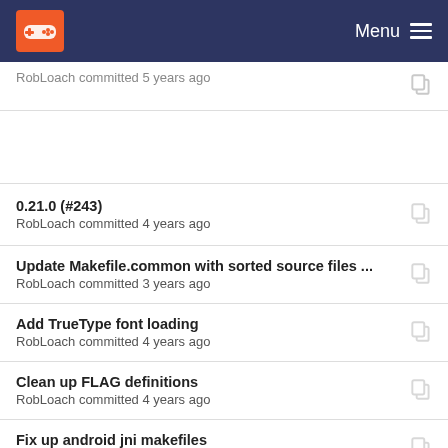Menu
RobLoach committed 5 years ago
0.21.0 (#243)
RobLoach committed 4 years ago
Update Makefile.common with sorted source files ...
RobLoach committed 3 years ago
Add TrueType font loading
RobLoach committed 4 years ago
Clean up FLAG definitions
RobLoach committed 4 years ago
Fix up android jni makefiles
Steel01 committed 4 years ago
Clean up FL...definitions